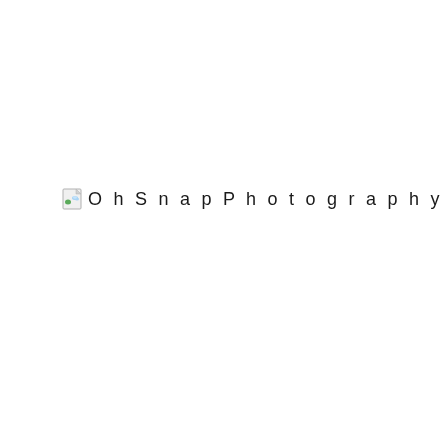[Figure (other): Broken image placeholder icon followed by the text label 'Oh Snap Photography_1490' showing a missing embedded image with filename reference.]